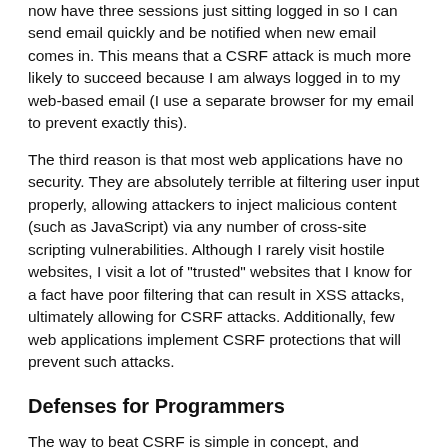now have three sessions just sitting logged in so I can send email quickly and be notified when new email comes in. This means that a CSRF attack is much more likely to succeed because I am always logged in to my web-based email (I use a separate browser for my email to prevent exactly this).
The third reason is that most web applications have no security. They are absolutely terrible at filtering user input properly, allowing attackers to inject malicious content (such as JavaScript) via any number of cross-site scripting vulnerabilities. Although I rarely visit hostile websites, I visit a lot of "trusted" websites that I know for a fact have poor filtering that can result in XSS attacks, ultimately allowing for CSRF attacks. Additionally, few web applications implement CSRF protections that will prevent such attacks.
Defenses for Programmers
The way to beat CSRF is simple in concept, and depending on your web-based application, anywhere from easy to almost impossible to implement properly. To beat CSRF attacks, an application simply has to verify that each request is made properly; in other words, your application needs to maintain state so that the content in browser tab 'A' that is logged into your